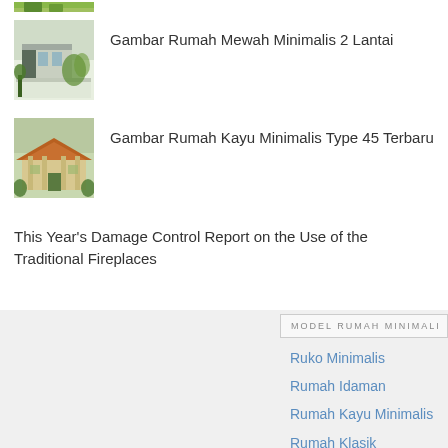[Figure (photo): Small green landscape thumbnail at top]
[Figure (photo): Modern minimalist 2-storey house with green accents]
Gambar Rumah Mewah Minimalis 2 Lantai
[Figure (photo): Wooden minimalist single-storey house with orange roof]
Gambar Rumah Kayu Minimalis Type 45 Terbaru
This Year's Damage Control Report on the Use of the Traditional Fireplaces
MODEL RUMAH MINIMALI
Ruko Minimalis
Rumah Idaman
Rumah Kayu Minimalis
Rumah Klasik